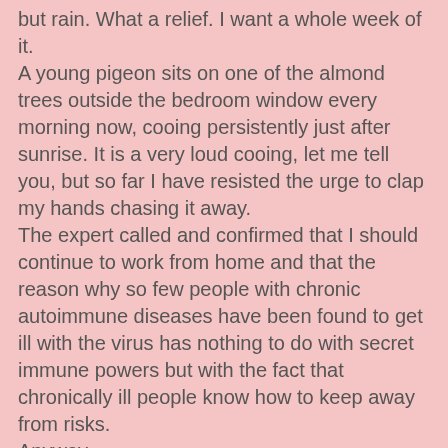but rain. What a relief. I want a whole week of it.
A young pigeon sits on one of the almond trees outside the bedroom window every morning now, cooing persistently just after sunrise. It is a very loud cooing, let me tell you, but so far I have resisted the urge to clap my hands chasing it away.
The expert called and confirmed that I should continue to work from home and that the reason why so few people with chronic autoimmune diseases have been found to get ill with the virus has nothing to do with secret immune powers but with the fact that chronically ill people know how to keep away from risks.
Anyway.
She also stressed again that this is it for me, that there are no miracle cures and also, age . . . I told her I was on top of it all and happy with my lot and smiled my zoom smile because this was a zoom
doctor's appointment. And when she logged off I cursed the screen and ran to R for comfort. Side effect.

In gardening news, here is our Robin rose (and especially for Roger to stay well).